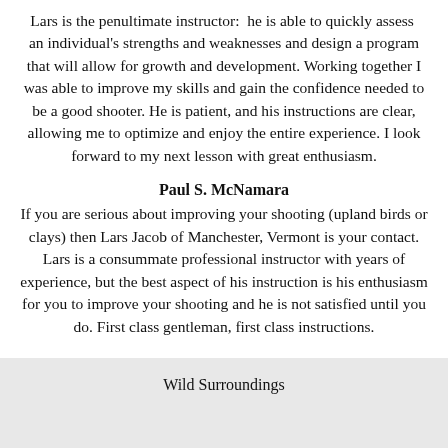Lars is the penultimate instructor:  he is able to quickly assess  an individual's strengths and weaknesses and design a program that will allow for growth and development. Working together I was able to improve my skills and gain the confidence needed to be a good shooter. He is patient, and his instructions are clear, allowing me to optimize and enjoy the entire experience. I look forward to my next lesson with great enthusiasm.
Paul S. McNamara
If you are serious about improving your shooting (upland birds or clays) then Lars Jacob of Manchester, Vermont is your contact. Lars is a consummate professional instructor with years of experience, but the best aspect of his instruction is his enthusiasm for you to improve your shooting and he is not satisfied until you do. First class gentleman, first class instructions.
Wild Surroundings